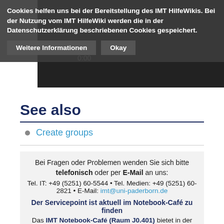Cookies helfen uns bei der Bereitstellung des IMT HilfeWikis. Bei der Nutzung vom IMT HilfeWiki werden die in der Datenschutzerklärung beschriebenen Cookies gespeichert. Weitere Informationen Okay
See also
Create groups
Bei Fragen oder Problemen wenden Sie sich bitte telefonisch oder per E-Mail an uns: Tel. IT: +49 (5251) 60-5544 • Tel. Medien: +49 (5251) 60-2821 • E-Mail: imt@uni-paderborn.de
Der Servicepoint ist aktuell im Notebook-Café zu finden
Das IMT Notebook-Café (Raum J0.401) bietet in der